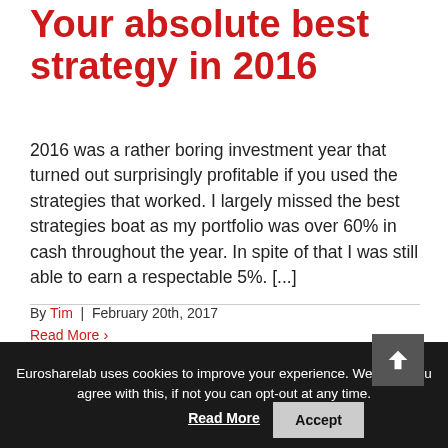Your absolute best strategy in 2016
2016 was a rather boring investment year that turned out surprisingly profitable if you used the strategies that worked. I largely missed the best strategies boat as my portfolio was over 60% in cash throughout the year. In spite of that I was still able to earn a respectable 5%. [...]
By Tim | February 20th, 2017 Read More
Eurosharelab uses cookies to improve your experience. We hope you agree with this, if not you can opt-out at any time. Read More